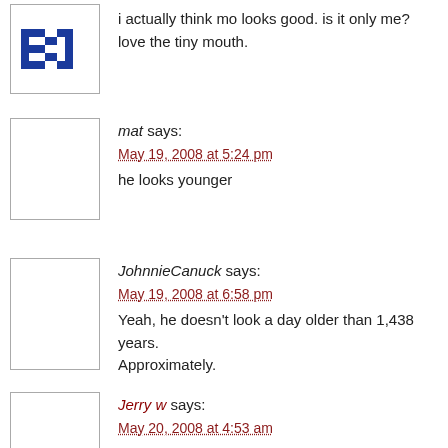[Figure (illustration): Blue pixel-art avatar with two letter-shaped blocks 'b' and 'd']
i actually think mo looks good. is it only me?
love the tiny mouth.
[Figure (illustration): Blank white avatar box for user mat]
mat says:
May 19, 2008 at 5:24 pm
he looks younger
[Figure (illustration): Blank white avatar box for user JohnnieCanuck]
JohnnieCanuck says:
May 19, 2008 at 6:58 pm
Yeah, he doesn't look a day older than 1,438 years. Approximately.
[Figure (illustration): Blank white avatar box for user Jerry w]
Jerry w says:
May 20, 2008 at 4:53 am
Before, he was Mo.
Now, he looks like Curly.
http://boskolives.wordpress.com/
[Figure (illustration): Blank white avatar box for user Uncle Roger]
Uncle Roger says:
May 21, 2008 at 9:40 am
That's why I have a beard — because people think I'm a girl